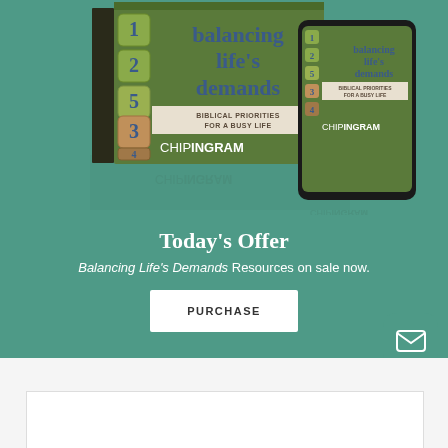[Figure (photo): Product image showing two versions of 'Balancing Life's Demands: Biblical Priorities for a Busy Life' by Chip Ingram — a CD/DVD boxed set on the left and a smartphone app/digital version on the right, both displayed on a teal/green background with reflections below]
Today's Offer
Balancing Life's Demands Resources on sale now.
PURCHASE
ABOUT THIS SERIES